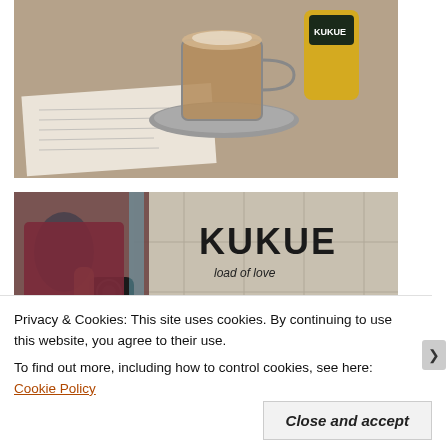[Figure (photo): Top photo: overhead view of a coffee drink in a glass mug on a metal saucer, a yellow takeaway cup in the background, and papers/menu on a table.]
[Figure (photo): Bottom photo: person in red/maroon t-shirt carrying a camera and backpack, standing in front of a wall with graffiti reading 'KUKUE' and text 'load of love' below it.]
Privacy & Cookies: This site uses cookies. By continuing to use this website, you agree to their use.
To find out more, including how to control cookies, see here: Cookie Policy
Close and accept